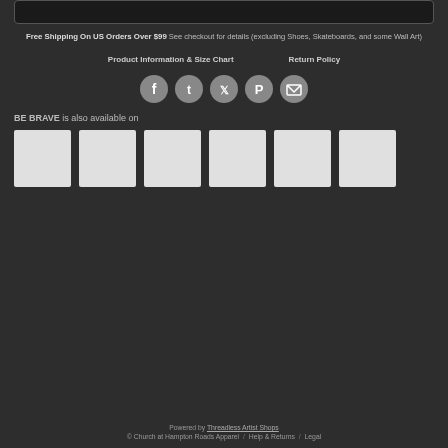[Figure (other): Dark rounded rectangle top bar (partial product image area)]
Free Shipping On US Orders Over $99 See checkout for details (excluding Shoes, Skateboards, and some Wall Art)
Product Information & Size Chart    Return Policy
[Figure (other): Social media icons row: Facebook, Tumblr, Twitter, Pinterest, Email]
BE BRAVE is also available on
[Figure (other): Six white product thumbnail squares showing available products]
Powered by Threadless Artist Shops © Church at Hampton Roads Apparel / Help & Returns / Legal